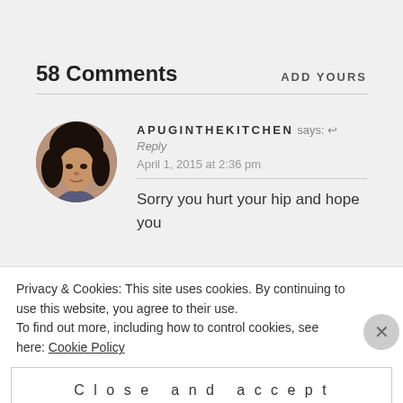58 Comments
ADD YOURS
[Figure (photo): Circular avatar photo of a woman with dark hair, used as a commenter profile picture]
APUGINTHEKITCHEN says: ↩ Reply
April 1, 2015 at 2:36 pm
Sorry you hurt your hip and hope you
Privacy & Cookies: This site uses cookies. By continuing to use this website, you agree to their use.
To find out more, including how to control cookies, see here: Cookie Policy
Close and accept